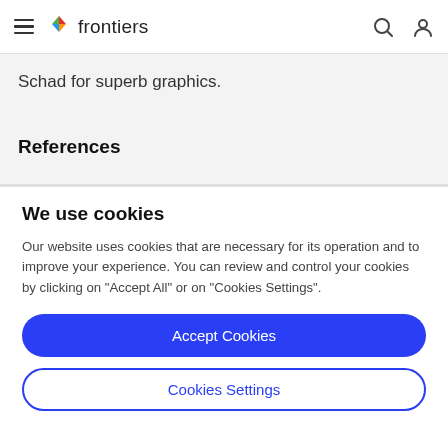frontiers
Schad for superb graphics.
References
We use cookies
Our website uses cookies that are necessary for its operation and to improve your experience. You can review and control your cookies by clicking on "Accept All" or on "Cookies Settings".
Accept Cookies
Cookies Settings